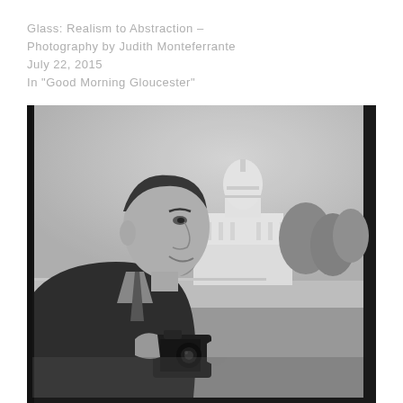Glass: Realism to Abstraction – Photography by Judith Monteferrante
July 22, 2015
In "Good Morning Gloucester"
[Figure (photo): Black and white photograph of a man holding a camera, photographed in profile/three-quarter view with the United States Capitol building visible in the background. The image has a dark border/frame typical of film photography.]